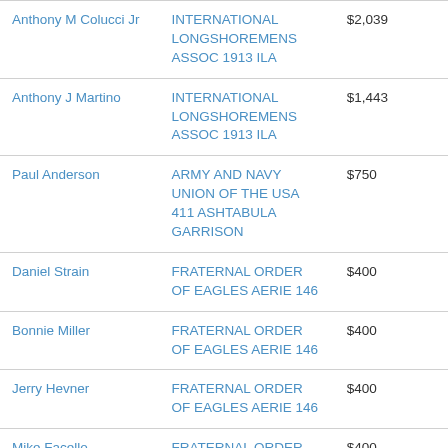| Anthony M Colucci Jr | INTERNATIONAL LONGSHOREMENS ASSOC 1913 ILA | $2,039 |
| Anthony J Martino | INTERNATIONAL LONGSHOREMENS ASSOC 1913 ILA | $1,443 |
| Paul Anderson | ARMY AND NAVY UNION OF THE USA 411 ASHTABULA GARRISON | $750 |
| Daniel Strain | FRATERNAL ORDER OF EAGLES AERIE 146 | $400 |
| Bonnie Miller | FRATERNAL ORDER OF EAGLES AERIE 146 | $400 |
| Jerry Hevner | FRATERNAL ORDER OF EAGLES AERIE 146 | $400 |
| Mike Facello | FRATERNAL ORDER OF EAGLES AERIE 146 | $400 |